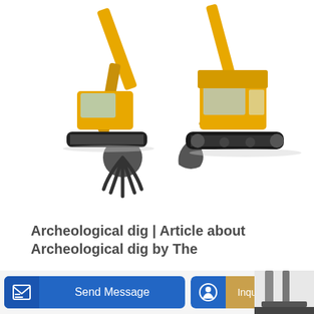[Figure (illustration): Two yellow construction excavators/machines on white background — one with a claw/grapple attachment on the left, one standard excavator on the right]
Archeological dig | Article about Archeological dig by The
the process of removing rock or earth from a solid, broken, or unconsolidated layer by means of an excavator, bulldozer, scraper, or similar machine. In earthwork...
[Figure (other): Learn More button — teal/cyan rounded rectangle button]
[Figure (other): Send Message button — blue rounded rectangle with icon]
[Figure (other): Inquiry Online button — blue icon with tan/gold rounded rectangle]
[Figure (photo): Partial view of another machine at bottom right corner]